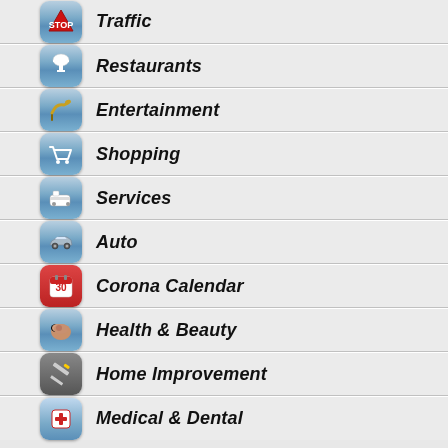Traffic
Restaurants
Entertainment
Shopping
Services
Auto
Corona Calendar
Health & Beauty
Home Improvement
Medical & Dental